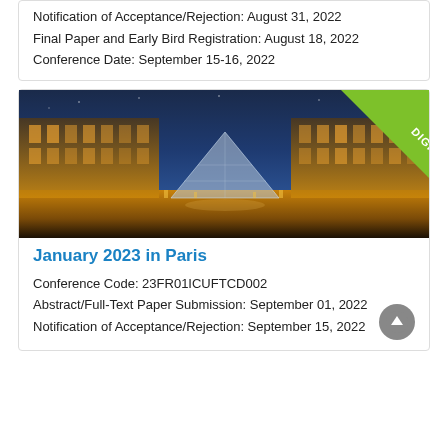Notification of Acceptance/Rejection: August 31, 2022
Final Paper and Early Bird Registration: August 18, 2022
Conference Date: September 15-16, 2022
[Figure (photo): Night-time photo of the Louvre museum in Paris with the glass pyramid illuminated, with a green 'DIGITAL' diagonal banner in the top-right corner]
January 2023 in Paris
Conference Code: 23FR01ICUFTCD002
Abstract/Full-Text Paper Submission: September 01, 2022
Notification of Acceptance/Rejection: September 15, 2022